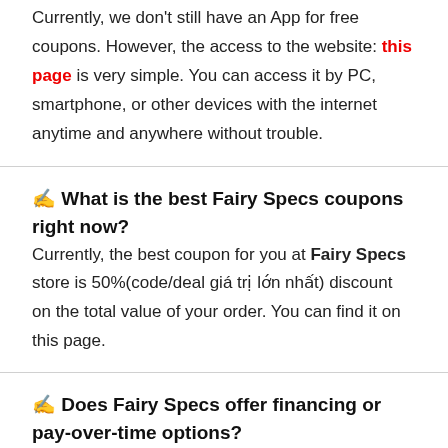Currently, we don't still have an App for free coupons. However, the access to the website: this page is very simple. You can access it by PC, smartphone, or other devices with the internet anytime and anywhere without trouble.
✍ What is the best Fairy Specs coupons right now?
Currently, the best coupon for you at Fairy Specs store is 50%(code/deal giá trị lớn nhất) discount on the total value of your order. You can find it on this page.
✍ Does Fairy Specs offer financing or pay-over-time options?